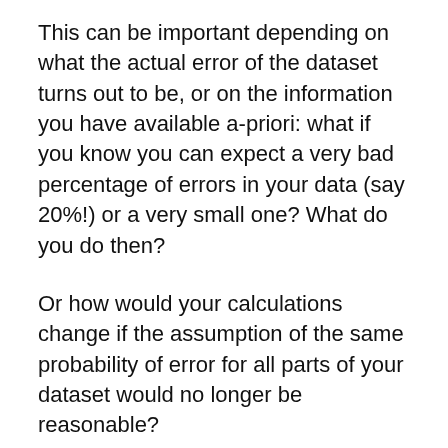This can be important depending on what the actual error of the dataset turns out to be, or on the information you have available a-priori: what if you know you can expect a very bad percentage of errors in your data (say 20%!) or a very small one? What do you do then?
Or how would your calculations change if the assumption of the same probability of error for all parts of your dataset would no longer be reasonable?
Remember that sampling ALWAYS implies some uncertainty. What we are doing here is getting a sample so that we can have some information and decide if its worth our time and effort to continue working with a dataset or not. You can